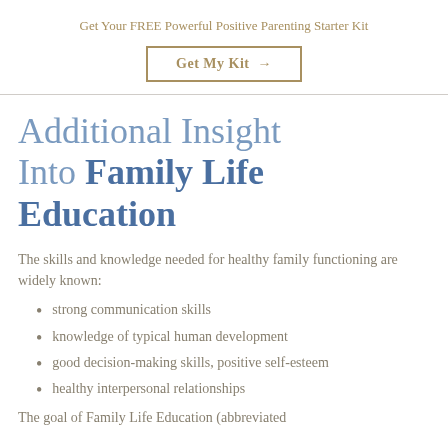Get Your FREE Powerful Positive Parenting Starter Kit
Get My Kit →
Additional Insight Into Family Life Education
The skills and knowledge needed for healthy family functioning are widely known:
strong communication skills
knowledge of typical human development
good decision-making skills, positive self-esteem
healthy interpersonal relationships
The goal of Family Life Education (abbreviated